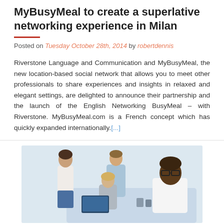MyBusyMeal to create a superlative networking experience in Milan
Posted on Tuesday October 28th, 2014 by robertdennis
Riverstone Language and Communication and MyBusyMeal, the new location-based social network that allows you to meet other professionals to share experiences and insights in relaxed and elegant settings, are delighted to announce their partnership and the launch of the English Networking BusyMeal – with Riverstone. MyBusyMeal.com is a French concept which has quickly expanded internationally.[...]
[Figure (photo): Group of professionals networking in an office setting, including a woman standing, a man in a light blue shirt, a blonde woman, and a Black man with glasses.]